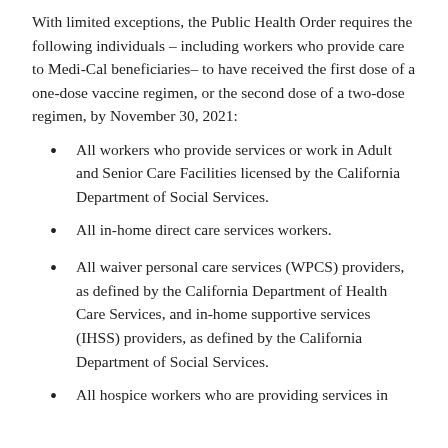With limited exceptions, the Public Health Order requires the following individuals – including workers who provide care to Medi-Cal beneficiaries– to have received the first dose of a one-dose vaccine regimen, or the second dose of a two-dose regimen, by November 30, 2021:
All workers who provide services or work in Adult and Senior Care Facilities licensed by the California Department of Social Services.
All in-home direct care services workers.
All waiver personal care services (WPCS) providers, as defined by the California Department of Health Care Services, and in-home supportive services (IHSS) providers, as defined by the California Department of Social Services.
All hospice workers who are providing services in...